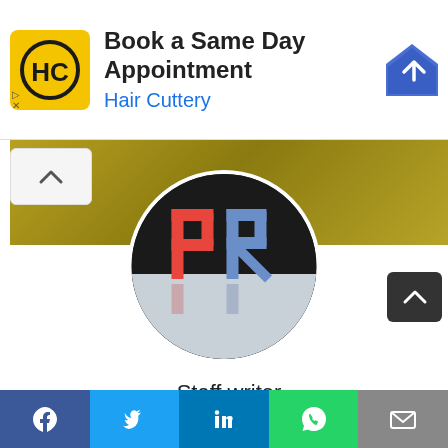[Figure (screenshot): Hair Cuttery advertisement banner with logo, 'Book a Same Day Appointment' text, and navigation arrow icon]
[Figure (photo): Circular profile photo showing 3D red letter P and blue letter R on a reflective surface with dark background]
Staff writer
Staff Writer
[Figure (infographic): Social media icons: LinkedIn, Facebook, Twitter, Instagram]
[Figure (infographic): Bottom share bar with Facebook, Twitter, LinkedIn, WhatsApp, and Email buttons]